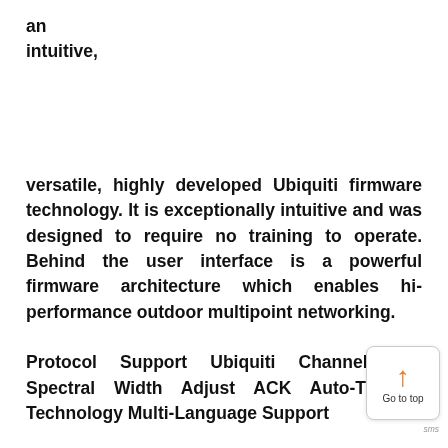an intuitive,
versatile, highly developed Ubiquiti firmware technology. It is exceptionally intuitive and was designed to require no training to operate. Behind the user interface is a powerful firmware architecture which enables hi-performance outdoor multipoint networking. Protocol Support Ubiquiti Channelization Spectral Width Adjust ACK Auto-Timing Technology Multi-Language Support